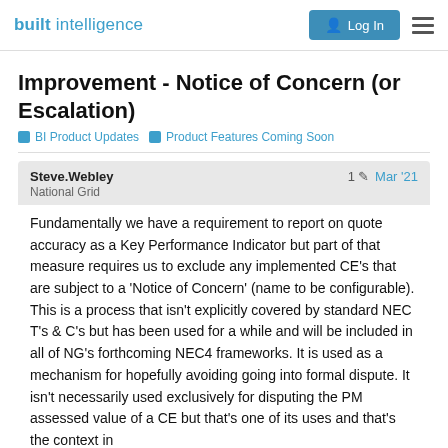built intelligence | Log In
Improvement - Notice of Concern (or Escalation)
BI Product Updates  Product Features Coming Soon
Steve.Webley
National Grid
1  Mar '21
Fundamentally we have a requirement to report on quote accuracy as a Key Performance Indicator but part of that measure requires us to exclude any implemented CE's that are subject to a 'Notice of Concern' (name to be configurable). This is a process that isn't explicitly covered by standard NEC T's & C's but has been used for a while and will be included in all of NG's forthcoming NEC4 frameworks. It is used as a mechanism for hopefully avoiding going into formal dispute. It isn't necessarily used exclusively for disputing the PM assessed value of a CE but that's one of its uses and that's the context in